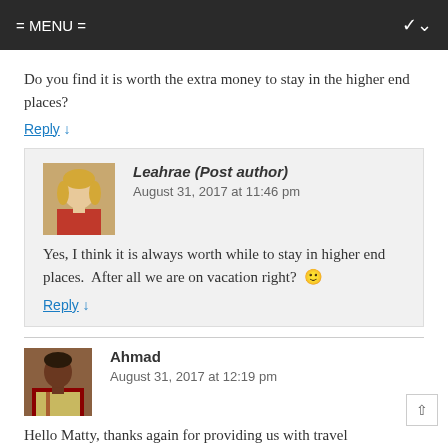= MENU =
Do you find it is worth the extra money to stay in the higher end places?
Reply ↓
Leahrae (Post author)
August 31, 2017 at 11:46 pm
Yes, I think it is always worth while to stay in higher end places. After all we are on vacation right? 🙂
Reply ↓
Ahmad
August 31, 2017 at 12:19 pm
Hello Matty, thanks again for providing us with travel destinations. It has always been my dream to visit the Bahamas, and Cat Island looks so amazing!!! The weather is nice, the hotel